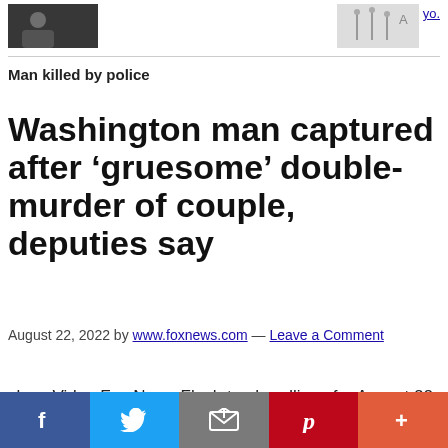[Figure (photo): Thumbnail image of a person on left side of top bar]
[Figure (photo): Thumbnail image with figures on right side of top bar, with a partial blue link visible]
Man killed by police
Washington man captured after ‘gruesome’ double-murder of couple, deputies say
August 22, 2022 by www.foxnews.com — Leave a Comment
close Video Fox News Flash top headlines for August 22 Fox News Flash top headlines are here. Check out what’s clicking on Foxnews.com. NEW